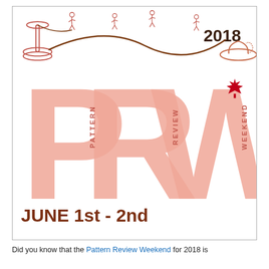[Figure (logo): Pattern Review Weekend 2018 Canada logo. Large light salmon/pink letters P, R, W with PATTERN, REVIEW, WEEKEND written vertically beside each letter. CANADA written vertically on right side. Red maple leaf. Dancing figure silhouettes at top. Sewing machine on left. Cowboy hat on right. Year 2018 in dark text upper right. Text at bottom: JUNE 1st - 2nd in dark brown/maroon.]
Did you know that the Pattern Review Weekend for 2018 is